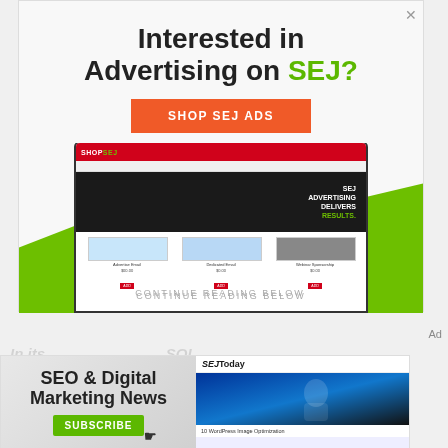[Figure (screenshot): Advertisement banner: 'Interested in Advertising on SEJ?' with orange 'SHOP SEJ ADS' button and laptop screenshot showing ShopSEJ website with green background accents]
CONTINUE READING BELOW
Ad
[Figure (screenshot): Advertisement banner: 'SEO & Digital Marketing News' with green SUBSCRIBE button and cursor icon; right side shows SEJ Today newsletter with athlete photo and '10 WordPress Image Optimization' text]